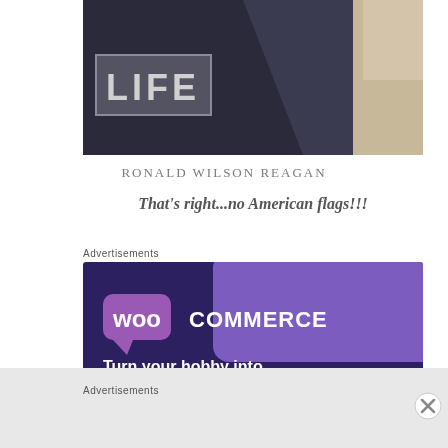[Figure (photo): Partial LIFE magazine cover showing dark clothing and the LIFE logo in the upper left corner of the image]
RONALD WILSON REAGAN
That's right...no American flags!!!
Advertisements
[Figure (screenshot): WooCommerce advertisement banner with purple/dark blue background showing the WooCommerce logo and text 'Turn your hobby into a business in 8 steps']
Advertisements